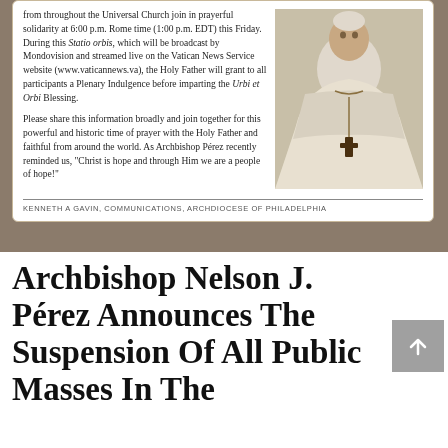from throughout the Universal Church join in prayerful solidarity at 6:00 p.m. Rome time (1:00 p.m. EDT) this Friday. During this Statio orbis, which will be broadcast by Mondovision and streamed live on the Vatican News Service website (www.vaticannews.va), the Holy Father will grant to all participants a Plenary Indulgence before imparting the Urbi et Orbi Blessing.
Please share this information broadly and join together for this powerful and historic time of prayer with the Holy Father and faithful from around the world. As Archbishop Pérez recently reminded us, "Christ is hope and through Him we are a people of hope!"
[Figure (photo): Photo of a religious figure (Pope or Archbishop) dressed in white papal vestments with a large crucifix necklace, photographed from shoulders up against a light background]
KENNETH A GAVIN, COMMUNICATIONS, ARCHDIOCESE OF PHILADELPHIA
Archbishop Nelson J. Pérez Announces The Suspension Of All Public Masses In The